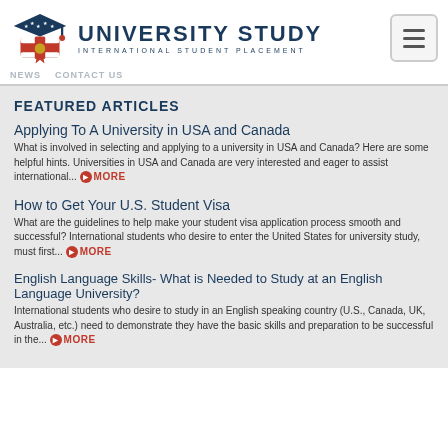[Figure (logo): University Study logo with graduation cap icon in red, white, and blue, and diploma. Text reads UNIVERSITY STUDY INTERNATIONAL STUDENT PLACEMENT]
CONTACT US
FEATURED ARTICLES
Applying To A University in USA and Canada
What is involved in selecting and applying to a university in USA and Canada? Here are some helpful hints. Universities in USA and Canada are very interested and eager to assist international... MORE
How to Get Your U.S. Student Visa
What are the guidelines to help make your student visa application process smooth and successful? International students who desire to enter the United States for university study, must first... MORE
English Language Skills- What is Needed to Study at an English Language University?
International students who desire to study in an English speaking country (U.S., Canada, UK, Australia, etc.) need to demonstrate they have the basic skills and preparation to be successful in the... MORE